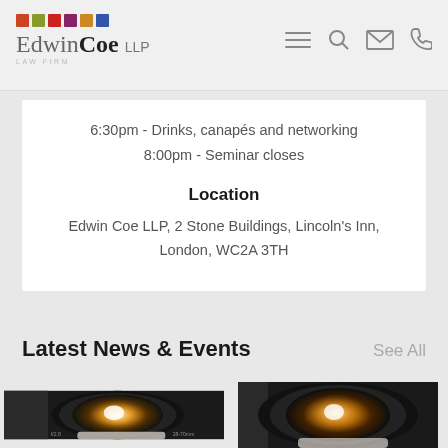[Figure (logo): Edwin Coe LLP law firm logo with colored squares and text]
6:30pm - Drinks, canapés and networking
8:00pm - Seminar closes
Location
Edwin Coe LLP, 2 Stone Buildings, Lincoln's Inn, London, WC2A 3TH
Latest News & Events
See All
[Figure (photo): Camera lens close-up photograph, black and white with golden bokeh]
[Figure (photo): Camera lens close-up photograph, partially visible on right side]